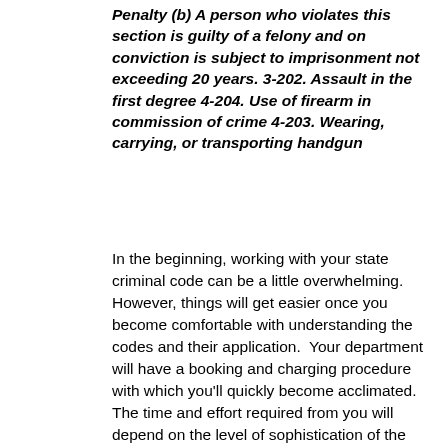Penalty (b) A person who violates this section is guilty of a felony and on conviction is subject to imprisonment not exceeding 20 years. 3-202. Assault in the first degree 4-204. Use of firearm in commission of crime 4-203. Wearing, carrying, or transporting handgun
In the beginning, working with your state criminal code can be a little overwhelming. However, things will get easier once you become comfortable with understanding the codes and their application.  Your department will have a booking and charging procedure with which you'll quickly become acclimated.  The time and effort required from you will depend on the level of sophistication of the procedures.  If your booking and charging documents are fully computerized, your task will be made easier especially where duplication is required.